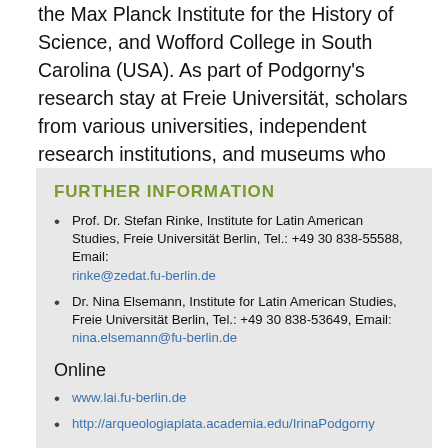the Max Planck Institute for the History of Science, and Wofford College in South Carolina (USA). As part of Podgorny's research stay at Freie Universität, scholars from various universities, independent research institutions, and museums who do research on the history of science will be linked in research networks.
FURTHER INFORMATION
Prof. Dr. Stefan Rinke, Institute for Latin American Studies, Freie Universität Berlin, Tel.: +49 30 838-55588, Email: rinke@zedat.fu-berlin.de
Dr. Nina Elsemann, Institute for Latin American Studies, Freie Universität Berlin, Tel.: +49 30 838-53649, Email: nina.elsemann@fu-berlin.de
Online
www.lai.fu-berlin.de
http://arqueologiaplata.academia.edu/IrinaPodgorny